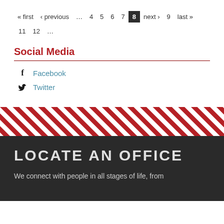« first ‹ previous … 4 5 6 7 8 next › 9 last » 11 12 …
Social Media
Facebook
Twitter
[Figure (illustration): Diagonal red and white stripe decorative banner]
LOCATE AN OFFICE
We connect with people in all stages of life, from